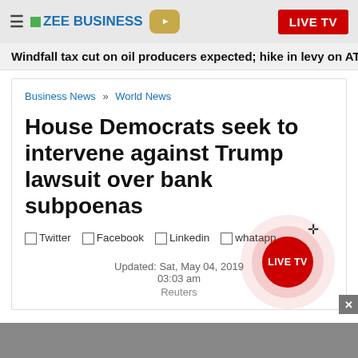ZEE BUSINESS | LIVE TV
Windfall tax cut on oil producers expected; hike in levy on ATF, die
Business News » World News
House Democrats seek to intervene against Trump lawsuit over bank subpoenas
Twitter  Facebook  Linkedin  whatapp
Updated: Sat, May 04, 2019
03:03 am
Reuters